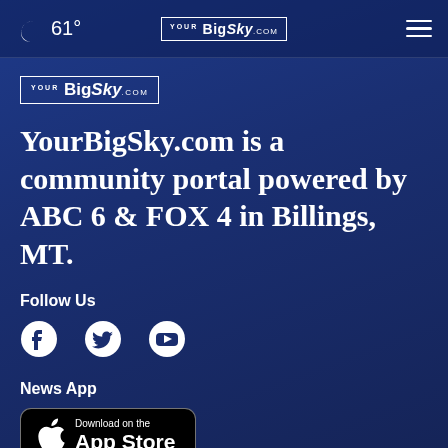61° YourBigSky.com ☰
[Figure (logo): YourBigSky.com logo in content area]
YourBigSky.com is a community portal powered by ABC 6 & FOX 4 in Billings, MT.
Follow Us
[Figure (infographic): Social media icons: Facebook, Twitter, YouTube]
News App
[Figure (infographic): Download on the App Store button]